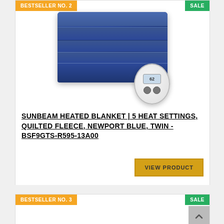BESTSELLER NO. 2
SALE
[Figure (photo): Folded navy blue quilted fleece heated blanket with a round white digital remote control showing heat settings]
SUNBEAM HEATED BLANKET | 5 HEAT SETTINGS, QUILTED FLEECE, NEWPORT BLUE, TWIN - BSF9GTS-R595-13A00
VIEW PRODUCT
BESTSELLER NO. 3
SALE